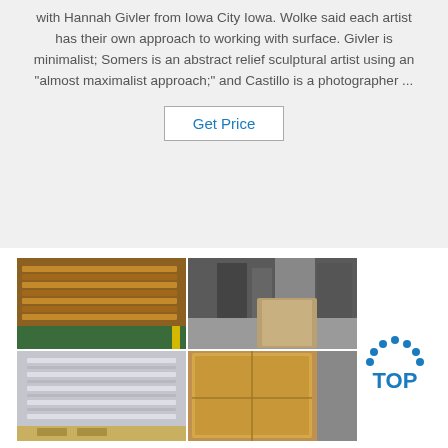with Hannah Givler from Iowa City Iowa. Wolke said each artist has their own approach to working with surface. Givler is minimalist; Somers is an abstract relief sculptural artist using an "almost maximalist approach;" and Castillo is a photographer ...
[Figure (other): Get Price button — blue text on white background with gray border]
[Figure (photo): Four-panel photo grid showing a warehouse or factory with stacked wooden pallets and metal/aluminum sheets on a green floor with yellow line markings]